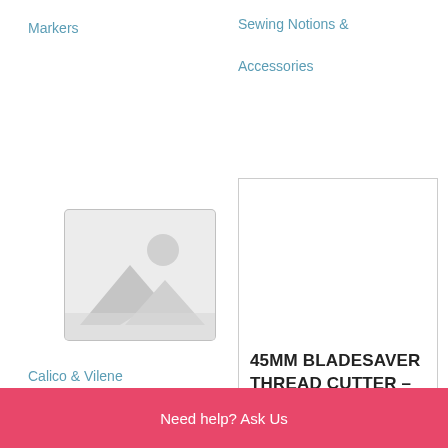Markers
Sewing Notions & Accessories
[Figure (illustration): Placeholder image icon showing a landscape silhouette with a sun/moon, inside a rounded-corner square with grey border and grey fill]
Calico & Vilene
[Figure (other): White product card with thin grey border, no image visible]
45MM BLADESAVER THREAD CUTTER – GREEN
Need help? Ask Us